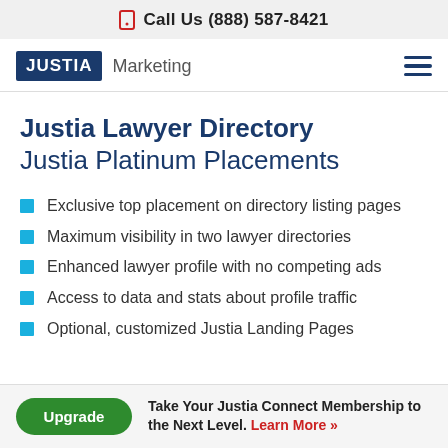Call Us (888) 587-8421
JUSTIA Marketing
Justia Lawyer Directory Justia Platinum Placements
Exclusive top placement on directory listing pages
Maximum visibility in two lawyer directories
Enhanced lawyer profile with no competing ads
Access to data and stats about profile traffic
Optional, customized Justia Landing Pages
Upgrade  Take Your Justia Connect Membership to the Next Level. Learn More »